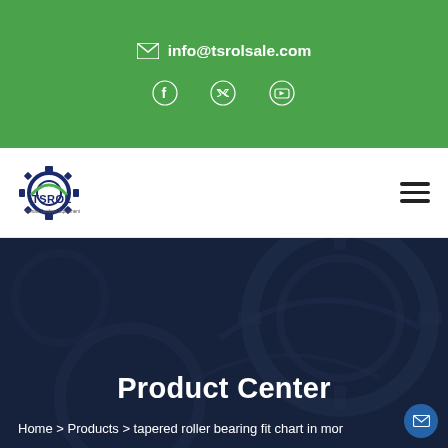✉ info@tsrolsale.com
[Figure (logo): TSROL industrial equipment company logo with gear icon and company name]
Product Center
Home > Products > tapered roller bearing fit chart in mor